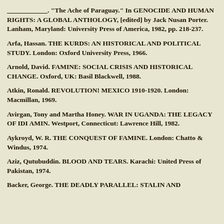____________. "The Ache of Paraguay." In GENOCIDE AND HUMAN RIGHTS: A GLOBAL ANTHOLOGY, [edited] by Jack Nusan Porter. Lanham, Maryland: University Press of America, 1982, pp. 218-237.
Arfa, Hassan. THE KURDS: AN HISTORICAL AND POLITICAL STUDY. London: Oxford University Press, 1966.
Arnold, David. FAMINE: SOCIAL CRISIS AND HISTORICAL CHANGE. Oxford, UK: Basil Blackwell, 1988.
Atkin, Ronald. REVOLUTION! MEXICO 1910-1920. London: Macmillan, 1969.
Avirgan, Tony and Martha Honey. WAR IN UGANDA: THE LEGACY OF IDI AMIN. Westport, Connecticut: Lawrence Hill, 1982.
Aykroyd, W. R. THE CONQUEST OF FAMINE. London: Chatto & Windus, 1974.
Aziz, Qutubuddin. BLOOD AND TEARS. Karachi: United Press of Pakistan, 1974.
Backer, George. THE DEADLY PARALLEL: STALIN AND